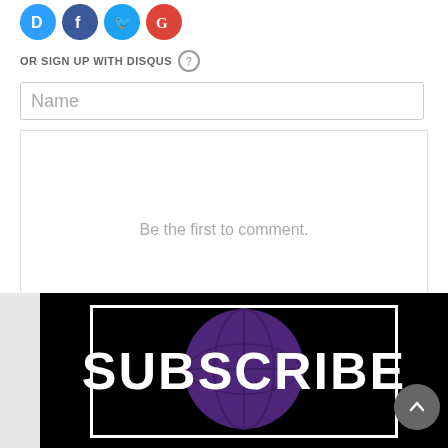[Figure (infographic): Social login icons: Disqus (blue D), Facebook (dark blue f), Twitter (light blue bird), Google (red G) as colored circles]
OR SIGN UP WITH DISQUS ?
[Figure (screenshot): Name input text field placeholder]
Be the first to comment.
Subscribe  Add Disqus  Do Not Sell My Data   DISQUS
[Figure (infographic): Black banner with white SUBSCRIBE text and purple globe graphic in background, white border rectangle overlay]